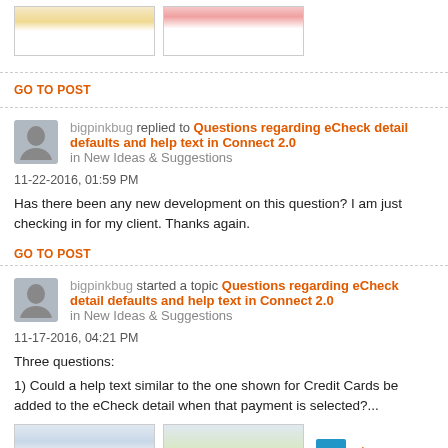[Figure (screenshot): Two thumbnail screenshots of a software interface with orange/yellow header bars]
GO TO POST
bigpinkbug replied to Questions regarding eCheck detail defaults and help text in Connect 2.0 in New Ideas & Suggestions
11-22-2016, 01:59 PM
Has there been any new development on this question? I am just checking in for my client. Thanks again.
GO TO POST
bigpinkbug started a topic Questions regarding eCheck detail defaults and help text in Connect 2.0 in New Ideas & Suggestions
11-17-2016, 04:21 PM
Three questions:
1) Could a help text similar to the one shown for Credit Cards be added to the eCheck detail when that payment is selected?...
[Figure (screenshot): Two thumbnail screenshots of payment interface, with a 2 Photos badge]